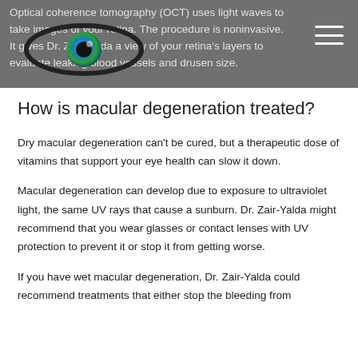Optical coherence tomography (OCT) uses light waves to [take images] of your retina. The procedure is noninvasive. It gives Dr. Zair-Yalda a view of your retina's layers to evaluate leaking blood vessels and drusen size.
How is macular degeneration treated?
Dry macular degeneration can't be cured, but a therapeutic dose of vitamins that support your eye health can slow it down.
Macular degeneration can develop due to exposure to ultraviolet light, the same UV rays that cause a sunburn. Dr. Zair-Yalda might recommend that you wear glasses or contact lenses with UV protection to prevent it or stop it from getting worse.
If you have wet macular degeneration, Dr. Zair-Yalda could recommend treatments that either stop the bleeding from